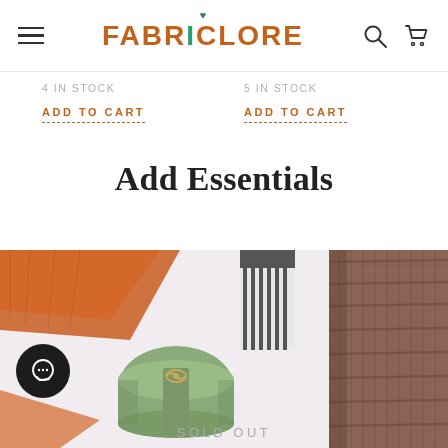Fabriclore — navigation header with hamburger menu, logo, search and cart icons
4 in stock
ADD TO CART
5 in stock
ADD TO CART
Add Essentials
[Figure (photo): Product image of rolled green fabric/thread tied with twine, with orange fabric and comb accessories visible, on light pink background]
[Figure (photo): Close-up of brown textured burlap/jute fabric]
SOLD OUT